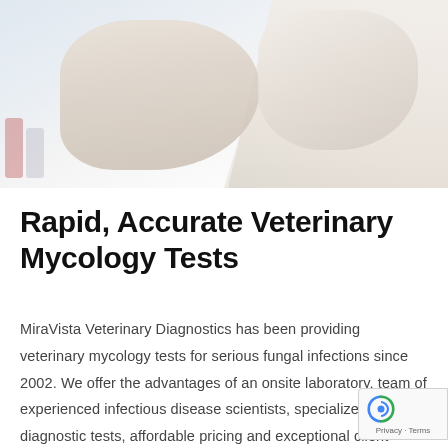[Figure (photo): Laboratory scientist in white coat and gloves, photographed from shoulders up in a lab setting]
Rapid, Accurate Veterinary Mycology Tests
MiraVista Veterinary Diagnostics has been providing veterinary mycology tests for serious fungal infections since 2002. We offer the advantages of an onsite laboratory, team of experienced infectious disease scientists, specialized menu of diagnostic tests, affordable pricing and exceptional client service. Choose MiraVista for your veterinary mycology t to experience the advantage.